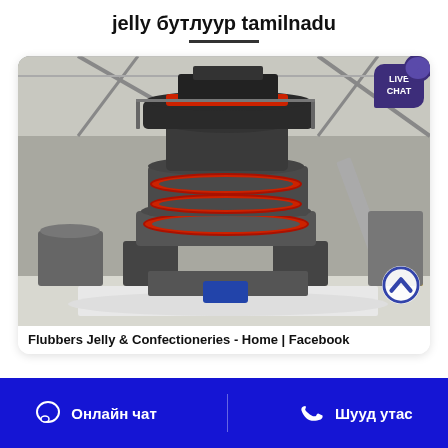jelly бутлуур tamilnadu
[Figure (photo): Industrial stone crusher / cone crusher machine in a large factory warehouse setting, with red accent rings and gray machinery, surrounded by white crushed stone on floor. Live Chat badge in top right corner, scroll-to-top arrow button at bottom right.]
Flubbers Jelly & Confectioneries - Home | Facebook
Онлайн чат
Шууд утас